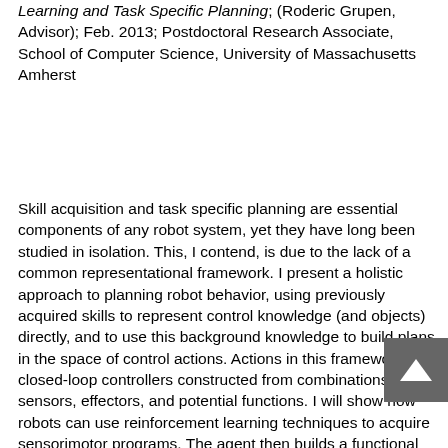Learning and Task Specific Planning; (Roderic Grupen, Advisor); Feb. 2013; Postdoctoral Research Associate, School of Computer Science, University of Massachusetts Amherst
Skill acquisition and task specific planning are essential components of any robot system, yet they have long been studied in isolation. This, I contend, is due to the lack of a common representational framework. I present a holistic approach to planning robot behavior, using previously acquired skills to represent control knowledge (and objects) directly, and to use this background knowledge to build plans in the space of control actions. Actions in this framework are closed-loop controllers constructed from combinations of sensors, effectors, and potential functions. I will show how robots can use reinforcement learning techniques to acquire sensorimotor programs. The agent then builds a functional model of its interactions with the world as distributions over the acquired skills. In addition, I present two planning algorithms that can reason about a task using the functional models. These algorithms are then